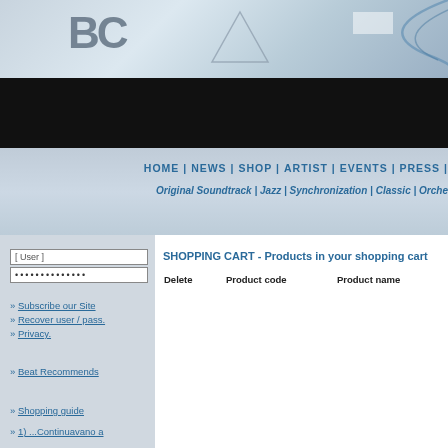[Figure (screenshot): Website header banner with logo letters partially visible (DC/BE style letters in gray), light blue gradient background with dark navy bar below]
HOME | NEWS | SHOP | ARTIST | EVENTS | PRESS |
Original Soundtrack | Jazz | Synchronization | Classic | Orche
[ User ]
••••••••••••••
>> Subscribe our Site
>> Recover user / pass.
>> Privacy.
>> Beat Recommends
>> Shopping guide
>> 1) ...Continuavano a chiamarle Tri
SHOPPING CART - Products in your shopping cart
| Delete | Product code | Product name |
| --- | --- | --- |